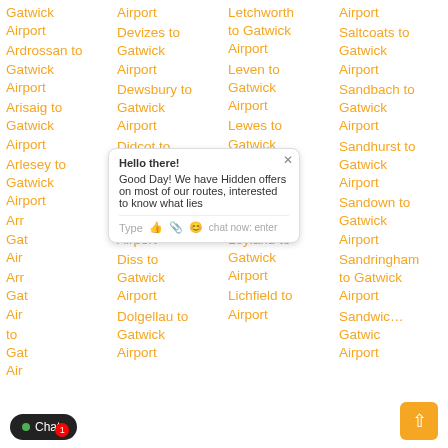Gatwick Airport
Ardrossan to Gatwick Airport
Arisaig to Gatwick Airport
Arlesey to Gatwick Airport
Airport
Airport
Airport
Airport
Devizes to Gatwick Airport
Dewsbury to Gatwick Airport
Didcot to Gatwick Airport
Dingwall to Gatwick Airport
Diss to Gatwick Airport
Dolgellau to Gatwick Airport
Letchworth to Gatwick Airport
Leven to Gatwick Airport
Lewes to Gatwick Airport
Leyburn to Gatwick Airport
Leyland to Gatwick Airport
Lichfield to Airport
Saltcoats to Gatwick Airport
Sandbach to Gatwick Airport
Sandhurst to Gatwick Airport
Sandown to Gatwick Airport
Sandringham to Gatwick Airport
Sandwich to Gatwick Airport